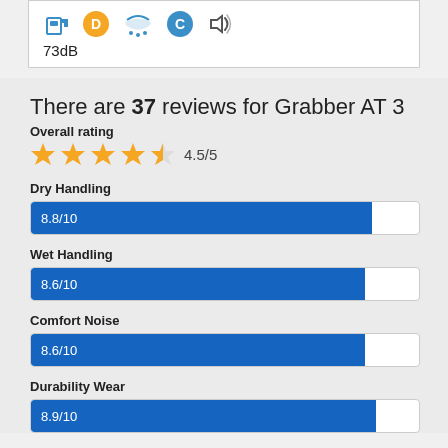[Figure (infographic): Tire rating icons: fuel pump icon, orange D badge, rain/wet icon, blue C badge, sound/volume icon. Below: 73dB text]
73dB
There are 37 reviews for Grabber AT 3
Overall rating
[Figure (infographic): 4.5 out of 5 stars rating shown with 4 filled orange stars and 1 half star, followed by text 4.5/5]
Dry Handling
[Figure (bar-chart): Dry Handling]
Wet Handling
[Figure (bar-chart): Wet Handling]
Comfort Noise
[Figure (bar-chart): Comfort Noise]
Durability Wear
[Figure (bar-chart): Durability Wear]